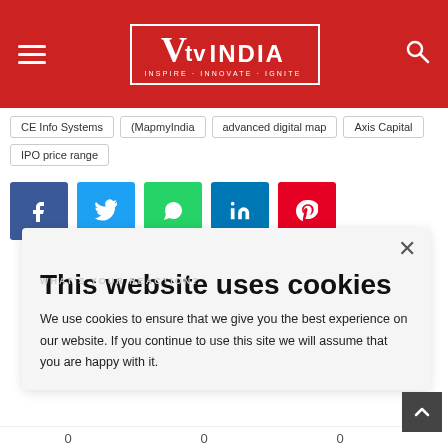VTV INDIA — INSPIRE · INNOVATE · IGNITE
CE Info Systems
(MapmyIndia
advanced digital map
Axis Capital
IPO price range
[Figure (infographic): Social sharing buttons: Facebook, Twitter, WhatsApp, LinkedIn, Pinterest]
WHAT'S YOUR REACTION?
This website uses cookies

We use cookies to ensure that we give you the best experience on our website. If you continue to use this site we will assume that you are happy with it.
0
0
0